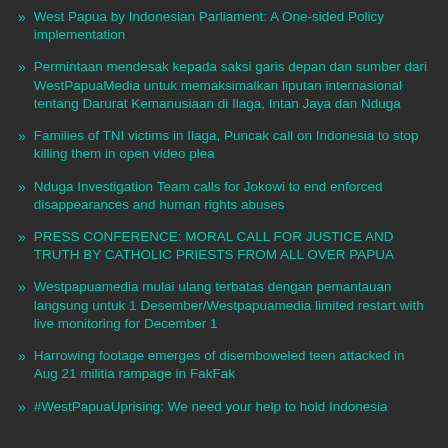West Papua by Indonesian Parliament: A One-sided Policy implementation
Permintaan mendesak kepada saksi garis depan dan sumber dari WestPapuaMedia untuk memaksimalkan liputan internasional tentang Darurat Kemanusiaan di Ilaga, Intan Jaya dan Nduga
Families of TNI victims in Ilaga, Puncak call on Indonesia to stop killing them in open video plea
Nduga Investigation Team calls for Jokowi to end enforced disappearances and human rights abuses
PRESS CONFERENCE: MORAL CALL FOR JUSTICE AND TRUTH BY CATHOLIC PRIESTS FROM ALL OVER PAPUA
Westpapuamedia mulai ulang terbatas dengan pemantauan langsung untuk 1 Desember/Westpapuamedia limited restart with live monitoring for December 1
Harrowing footage emerges of disemboweled teen attacked in Aug 21 militia rampage in FakFak
#WestPapuaUprising: We need your help to hold Indonesia